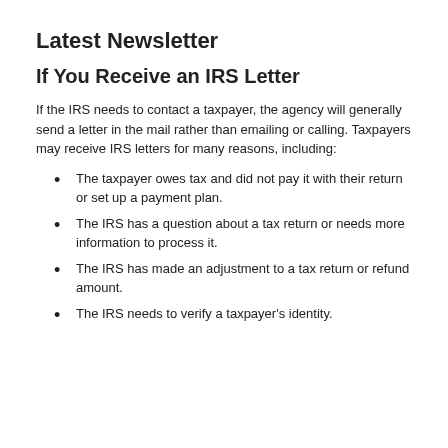Latest Newsletter
If You Receive an IRS Letter
If the IRS needs to contact a taxpayer, the agency will generally send a letter in the mail rather than emailing or calling. Taxpayers may receive IRS letters for many reasons, including:
The taxpayer owes tax and did not pay it with their return or set up a payment plan.
The IRS has a question about a tax return or needs more information to process it.
The IRS has made an adjustment to a tax return or refund amount.
The IRS needs to verify a taxpayer's identity.